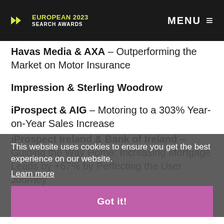EUROPEAN 2023 SEARCH AWARDS | MENU
Havas Media & AXA – Outperforming the Market on Motor Insurance
Impression & Sterling Woodrow
iProspect & AIG – Motoring to a 303% Year-on-Year Sales Increase
iProspect Ireland & Bank of Ireland – Guiding the Way Home: Increasing Mortgage Leads by +67% by Perfecting the User Journey
This website uses cookies to ensure you get the best experience on our website.
Learn more
Got it!
Mindshare-Greenhouse & ING – Video call-ING: The